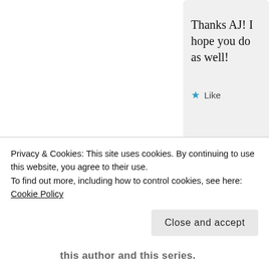Thanks AJ! I hope you do as well!
★ Like
MAY 1, 2020 AT 9:02 AM
↳ REPLY
this author and this series.
Privacy & Cookies: This site uses cookies. By continuing to use this website, you agree to their use.
To find out more, including how to control cookies, see here: Cookie Policy
Close and accept